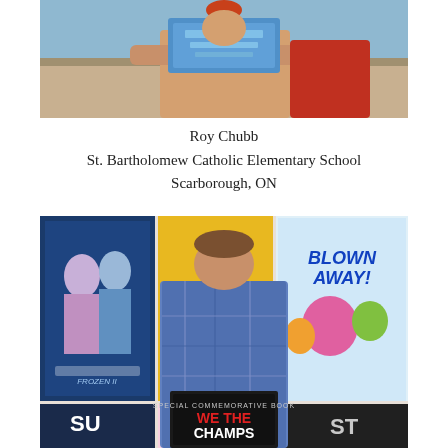[Figure (photo): Person holding up a blue book/plaque related to Toronto Raptors, shot indoors]
Roy Chubb
St. Bartholomew Catholic Elementary School
Scarborough, ON
[Figure (photo): Man in blue plaid shirt standing in front of book display posters including Frozen II, James, Blown Away!, Donut, and holding a 'We The Champs' Special Commemorative Book]